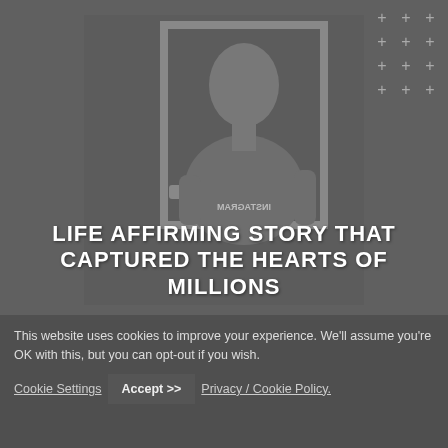[Figure (photo): Grayscale/dark-toned photo of a person taking a mirror selfie, with large bold white text overlay reading 'LIFE AFFIRMING STORY THAT CAPTURED THE HEARTS OF MILLIONS'. Decorative plus signs visible top-right. Reversed 'INSTAGRAM' watermark visible.]
This website uses cookies to improve your experience. We'll assume you're OK with this, but you can opt-out if you wish. Cookie Settings Accept >> Privacy / Cookie Policy.